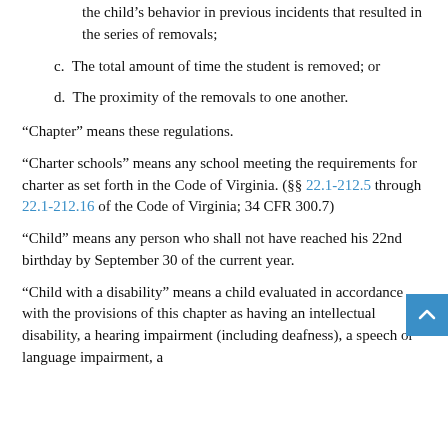b. The child's behavior is substantially similar to the child's behavior in previous incidents that resulted in the series of removals;
c. The total amount of time the student is removed; or
d. The proximity of the removals to one another.
“Chapter” means these regulations.
“Charter schools” means any school meeting the requirements for charter as set forth in the Code of Virginia. (§§ 22.1-212.5 through 22.1-212.16 of the Code of Virginia; 34 CFR 300.7)
“Child” means any person who shall not have reached his 22nd birthday by September 30 of the current year.
“Child with a disability” means a child evaluated in accordance with the provisions of this chapter as having an intellectual disability, a hearing impairment (including deafness), a speech or language impairment, a